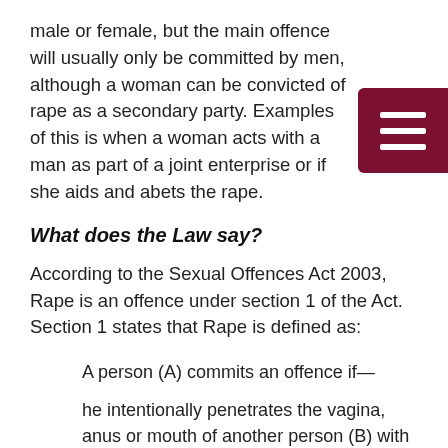male or female, but the main offence will usually only be committed by men, although a woman can be convicted of rape as a secondary party. Examples of this is when a woman acts with a man as part of a joint enterprise or if she aids and abets the rape.
What does the Law say?
According to the Sexual Offences Act 2003, Rape is an offence under section 1 of the Act. Section 1 states that Rape is defined as:
A person (A) commits an offence if—
he intentionally penetrates the vagina, anus or mouth of another person (B) with his penis,
B does not consent to the penetration, and
A does not reasonably believe that B consents.